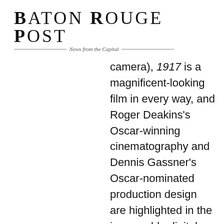BATON ROUGE POST — News from the Capital
camera), 1917 is a magnificent-looking film in every way, and Roger Deakins's Oscar-winning cinematography and Dennis Gassner's Oscar-nominated production design are highlighted in the impeccable digital port. Fine visual detail, color, black levels, and contrast are all spot-on, giving us a first-rate presentation of a unique experiment in cinematic immersion. The intense greens of the fields, the dull gray of the sky, and